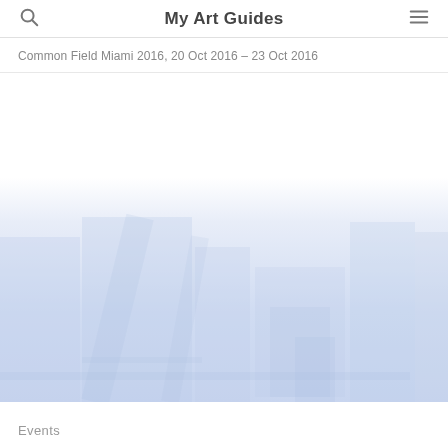My Art Guides
Common Field Miami 2016, 20 Oct 2016 – 23 Oct 2016
[Figure (photo): Faded/washed-out photograph of an art fair or exhibition space showing booths and visitors, rendered in very pale blue-white tones]
Events